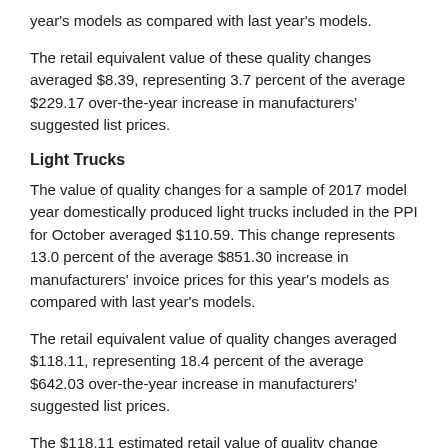year's models as compared with last year's models.
The retail equivalent value of these quality changes averaged $8.39, representing 3.7 percent of the average $229.17 over-the-year increase in manufacturers' suggested list prices.
Light Trucks
The value of quality changes for a sample of 2017 model year domestically produced light trucks included in the PPI for October averaged $110.59. This change represents 13.0 percent of the average $851.30 increase in manufacturers' invoice prices for this year's models as compared with last year's models.
The retail equivalent value of quality changes averaged $118.11, representing 18.4 percent of the average $642.03 over-the-year increase in manufacturers' suggested list prices.
The $118.11 estimated retail value of quality change breaks down as follows:
$64.97 for increases in fuel economy by changes to the powertrain and aerodynamic improvements.